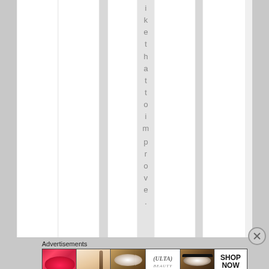[Figure (screenshot): Web page screenshot showing vertical rotated text reading 'ikethattoimprov e.' with multi-column layout and grey dividers on a light background]
ikethattoimprov e.
Advertisements
[Figure (photo): Advertisement banner strip showing beauty/cosmetics images: lips with lipstick, makeup brush, eye with eyeshadow, Ulta beauty logo, smokey eye, and SHOP NOW button]